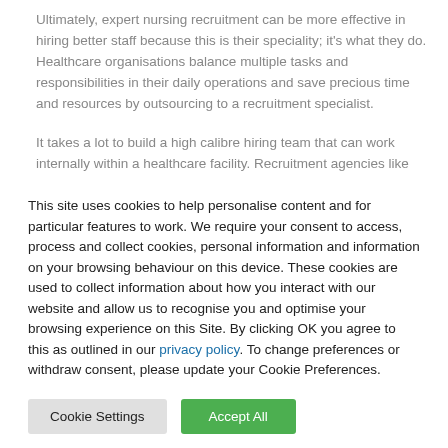Ultimately, expert nursing recruitment can be more effective in hiring better staff because this is their speciality; it's what they do. Healthcare organisations balance multiple tasks and responsibilities in their daily operations and save precious time and resources by outsourcing to a recruitment specialist.
It takes a lot to build a high calibre hiring team that can work internally within a healthcare facility. Recruitment agencies like
This site uses cookies to help personalise content and for particular features to work. We require your consent to access, process and collect cookies, personal information and information on your browsing behaviour on this device. These cookies are used to collect information about how you interact with our website and allow us to recognise you and optimise your browsing experience on this Site. By clicking OK you agree to this as outlined in our privacy policy. To change preferences or withdraw consent, please update your Cookie Preferences.
Cookie Settings
Accept All